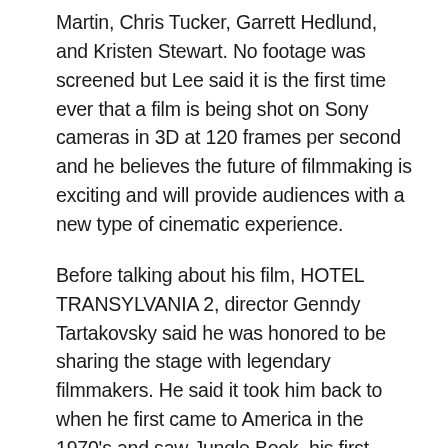Martin, Chris Tucker, Garrett Hedlund, and Kristen Stewart. No footage was screened but Lee said it is the first time ever that a film is being shot on Sony cameras in 3D at 120 frames per second and he believes the future of filmmaking is exciting and will provide audiences with a new type of cinematic experience.
Before talking about his film, HOTEL TRANSYLVANIA 2, director Genndy Tartakovsky said he was honored to be sharing the stage with legendary filmmakers. He said it took him back to when he first came to America in the 1970's and saw Jungle Book, his first movie in a theater. That film made him fall in love with movies, and why he became an animator and director. When Hotel Transylvania opened in theaters, he sat in the audience and listened to the reactions, happy that all generations were laughing at the same jokes. He's thrilled to return to Hotel Transylvania with this sequel, and said new cast member Keegan-Michael Key is hilarious. Tartakovsky also revealed  being intimated by Mel Brooks, who is part of